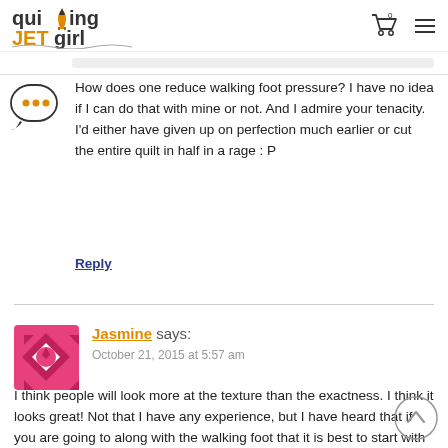Quilting Jet Girl
How does one reduce walking foot pressure? I have no idea if I can do that with mine or not. And I admire your tenacity. I'd either have given up on perfection much earlier or cut the entire quilt in half in a rage : P
Reply
Jasmine says:
October 21, 2015 at 5:57 am
I think people will look more at the texture than the exactness. I think it looks great! Not that I have any experience, but I have heard that if you are going to along with the walking foot that it is best to start with